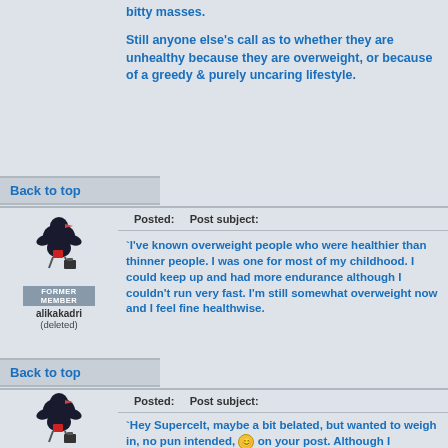bitty masses.

Still anyone else's call as to whether they are unhealthy because they are overweight, or because of a greedy & purely uncaring lifestyle.
Back to top
Posted:    Post subject:
[Figure (illustration): Forum user avatar: cartoon bird carrying a briefcase, labeled FORMER MEMBER, username alikakadri (deleted)]
`I've known overweight people who were healthier than thinner people. I was one for most of my childhood. I could keep up and had more endurance although I couldn't run very fast. I'm still somewhat overweight now and I feel fine healthwise.
Back to top
Posted:    Post subject:
[Figure (illustration): Forum user avatar: cartoon bird carrying a briefcase, labeled FORMER MEMBER]
`Hey Supercelt, maybe a bit belated, but wanted to weigh in, no pun intended, 🙂 on your post. Although I haven't...